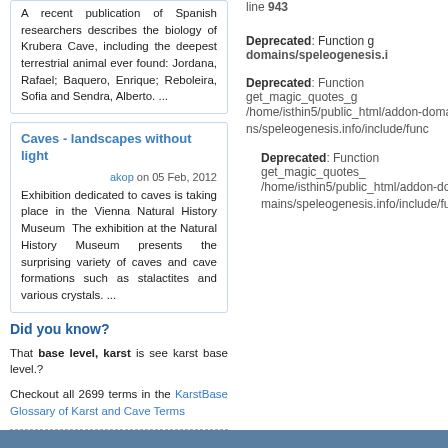A recent publication of Spanish researchers describes the biology of Krubera Cave, including the deepest terrestrial animal ever found: Jordana, Rafael; Baquero, Enrique; Reboleira, Sofia and Sendra, Alberto. ...
Caves - landscapes without light
akop on 05 Feb, 2012
Exhibition dedicated to caves is taking place in the Vienna Natural History Museum The exhibition at the Natural History Museum presents the surprising variety of caves and cave formations such as stalactites and various crystals. ...
Did you know?
That base level, karst is see karst base level.?
Checkout all 2699 terms in the KarstBase Glossary of Karst and Cave Terms
line 943
Deprecated: Function g
domains/speleogenesis.i
Deprecated: Function get_magic_quotes_g /home/isthin5/public_html/addon-domains/speleogenesis.info/include/func
Deprecated: Function get_magic_quotes_ /home/isthin5/public_html/addon-domains/speleogenesis.info/include/fu
TOP | Home | Aims and s